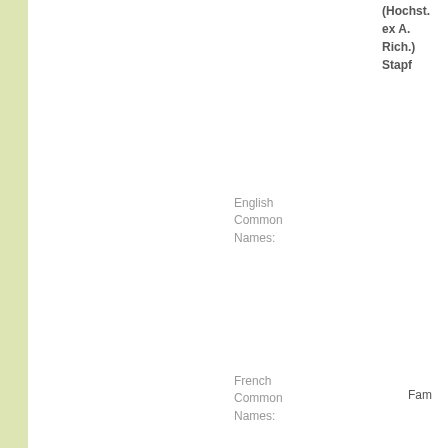(Hochst. ex A. Rich.) Stapf
English Common Names:
French Common Names:
Fam
German Common Names:
Rele
Tec
Wor
Par
(TW
Spanish Common Names:
Cro